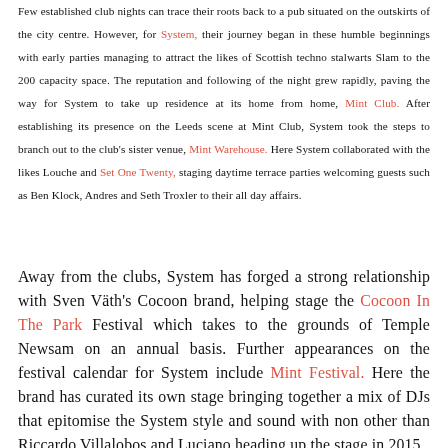Few established club nights can trace their roots back to a pub situated on the outskirts of the city centre. However, for System, their journey began in these humble beginnings with early parties managing to attract the likes of Scottish techno stalwarts Slam to the 200 capacity space. The reputation and following of the night grew rapidly, paving the way for System to take up residence at its home from home, Mint Club. After establishing its presence on the Leeds scene at Mint Club, System took the steps to branch out to the club's sister venue, Mint Warehouse. Here System collaborated with the likes Louche and Set One Twenty, staging daytime terrace parties welcoming guests such as Ben Klock, Andres and Seth Troxler to their all day affairs.
Away from the clubs, System has forged a strong relationship with Sven Väth's Cocoon brand, helping stage the Cocoon In The Park Festival which takes to the grounds of Temple Newsam on an annual basis. Further appearances on the festival calendar for System include Mint Festival. Here the brand has curated its own stage bringing together a mix of DJs that epitomise the System style and sound with non other than Riccardo Villalobos and Luciano heading up the stage in 2015.